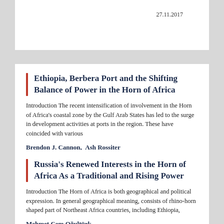27.11.2017
Ethiopia, Berbera Port and the Shifting Balance of Power in the Horn of Africa
Introduction The recent intensification of involvement in the Horn of Africa's coastal zone by the Gulf Arab States has led to the surge in development activities at ports in the region. These have coincided with various
Brendon J. Cannon,  Ash Rossiter
4.01.2018
Russia's Renewed Interests in the Horn of Africa As a Traditional and Rising Power
Introduction The Horn of Africa is both geographical and political expression. In general geographical meaning, consists of rhino-horn shaped part of Northeast Africa countries, including Ethiopia,
Mehmet Cem Oğultürk